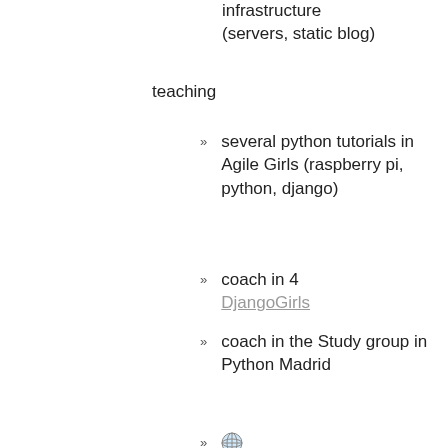infrastructure (servers, static blog)
teaching
several python tutorials in Agile Girls (raspberry pi, python, django)
coach in 4 DjangoGirls
coach in the Study group in Python Madrid
https://moduslaborandi.ne...list (technical tutorials for beginners and encouraging others)
https://www.youtube.com/...v=4EGohQnVfsE